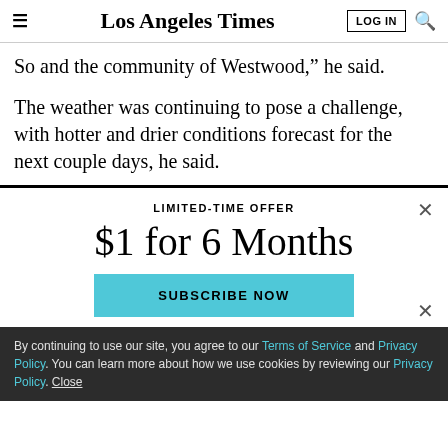Los Angeles Times
So and the community of Westwood,” he said.
The weather was continuing to pose a challenge, with hotter and drier conditions forecast for the next couple days, he said.
LIMITED-TIME OFFER
$1 for 6 Months
SUBSCRIBE NOW
By continuing to use our site, you agree to our Terms of Service and Privacy Policy. You can learn more about how we use cookies by reviewing our Privacy Policy. Close